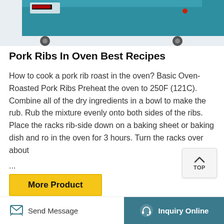[Figure (photo): Top portion of a teal/blue industrial oven on wheels, partially cropped]
Pork Ribs In Oven Best Recipes
How to cook a pork rib roast in the oven? Basic Oven-Roasted Pork Ribs Preheat the oven to 250F (121C). Combine all of the dry ingredients in a bowl to make the rub. Rub the mixture evenly onto both sides of the ribs. Place the racks rib-side down on a baking sheet or baking dish and ro... in the oven for 3 hours. Turn the racks over about ...
[Figure (screenshot): TOP scroll-to-top button overlay with upward chevron arrow]
More Product
[Figure (photo): Bottom strip of a metallic/silver industrial tray or equipment, partially cropped]
Send Message   Inquiry Online